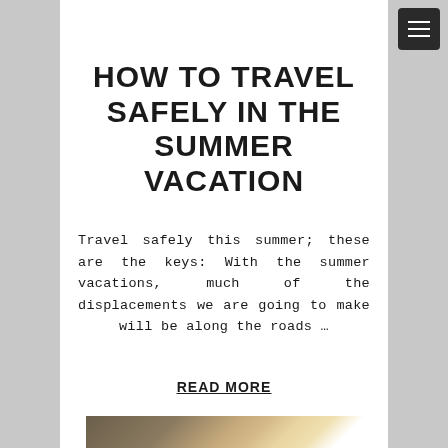[Figure (other): Hamburger menu button (three horizontal white lines on dark background) in top right corner]
HOW TO TRAVEL SAFELY IN THE SUMMER VACATION
Travel safely this summer; these are the keys: With the summer vacations, much of the displacements we are going to make will be along the roads …
READ MORE
[Figure (photo): Partial photo of a car headlight, yellowish tinted lens visible against dark car body]